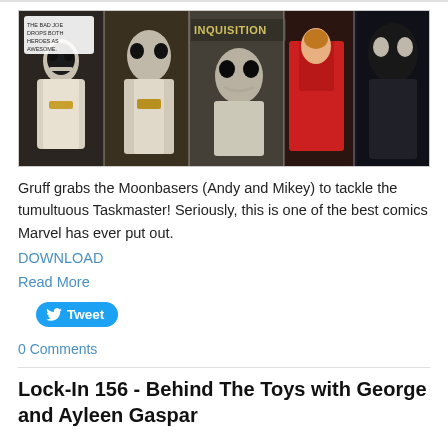[Figure (illustration): Comic book collage banner showing multiple versions of Taskmaster character in white cloak and skull mask, from Marvel comics, including various artistic styles]
Gruff grabs the Moonbasers (Andy and Mikey) to tackle the tumultuous Taskmaster! Seriously, this is one of the best comics Marvel has ever put out.
DOWNLOAD
Read More
Tweet
0 Comments
Lock-In 156 - Behind The Toys with George and Ayleen Gaspar